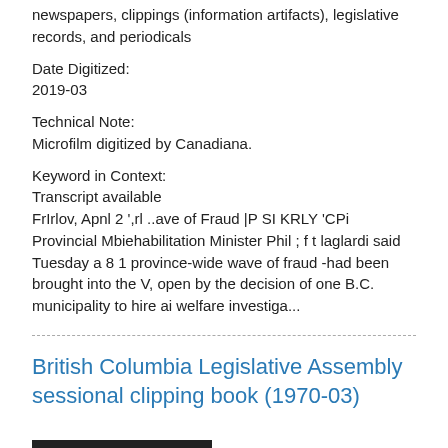newspapers, clippings (information artifacts), legislative records, and periodicals
Date Digitized:
2019-03
Technical Note:
Microfilm digitized by Canadiana.
Keyword in Context:
Transcript available
FrIrlov, Apnl 2 ',rl ..ave of Fraud |P SI KRLY 'CPi Provincial Mbiehabilitation Minister Phil ; f t laglardi said Tuesday a 8 1 province-wide wave of fraud -had been brought into the V, open by the decision of one B.C. municipality to hire ai welfare investiga...
British Columbia Legislative Assembly sessional clipping book (1970-03)